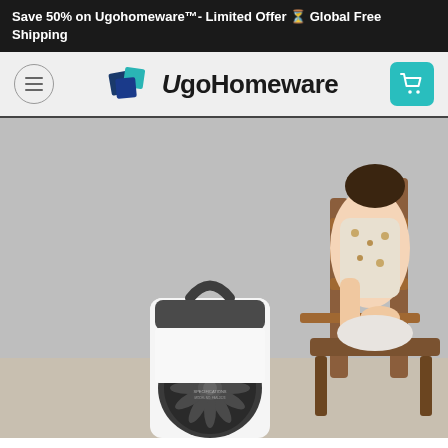Save 50% on Ugohomeware™- Limited Offer ⏳ Global Free Shipping
[Figure (logo): UgoHomeware logo with stylized blue and teal overlapping squares icon and brand name text]
[Figure (photo): Product photo of a white and dark gray portable desktop fan/air cooler with a carrying handle, placed on a surface with a woman in floral dress sitting on a wicker chair in the background]